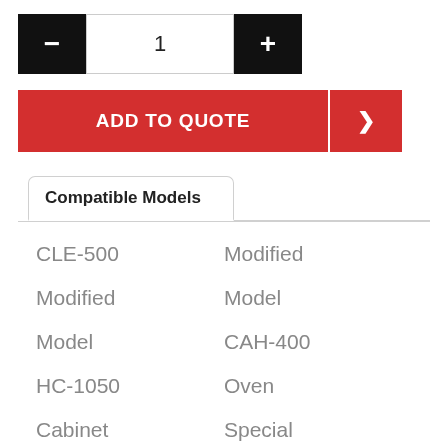[Figure (screenshot): Quantity selector with minus button, input showing 1, and plus button]
[Figure (screenshot): Add to Quote red button with arrow button]
Compatible Models
CLE-500
Modified
Modified
Model
Model
CAH-400
HC-1050
Oven
Cabinet
Special
Oven
Vertical
Model
Air